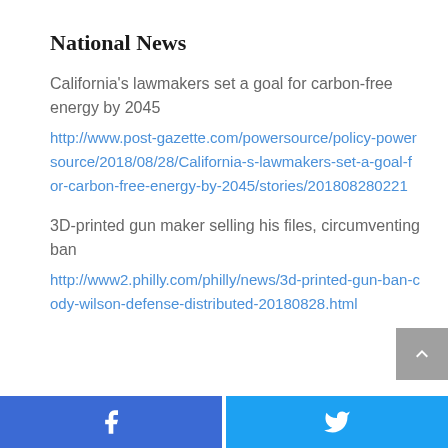National News
California's lawmakers set a goal for carbon-free energy by 2045
http://www.post-gazette.com/powersource/policy-powersource/2018/08/28/California-s-lawmakers-set-a-goal-for-carbon-free-energy-by-2045/stories/201808280221
3D-printed gun maker selling his files, circumventing ban
http://www2.philly.com/philly/news/3d-printed-gun-ban-cody-wilson-defense-distributed-20180828.html